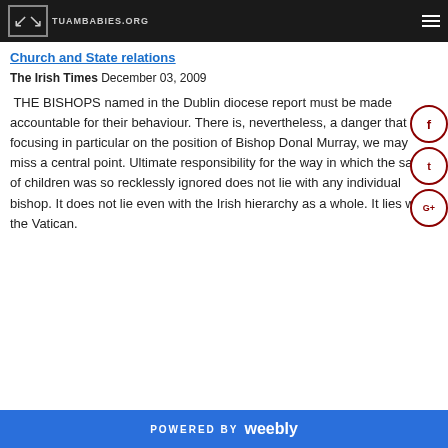TUAMBABIES.ORG
Church and State relations
The Irish Times December 03, 2009
THE BISHOPS named in the Dublin diocese report must be made accountable for their behaviour. There is, nevertheless, a danger that in focusing in particular on the position of Bishop Donal Murray, we may miss a central point. Ultimate responsibility for the way in which the safety of children was so recklessly ignored does not lie with any individual bishop. It does not lie even with the Irish hierarchy as a whole. It lies with the Vatican.
POWERED BY weebly